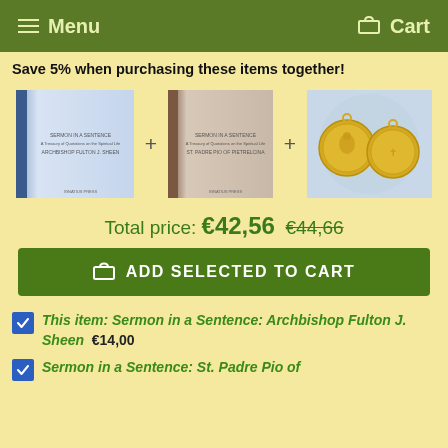Menu   Cart
Save 5% when purchasing these items together!
[Figure (photo): Three product images side by side: a blue hardcover book, a brown hardcover book, and two gold religious coins/medals, separated by plus signs.]
Total price: €42,56  €44,66
ADD SELECTED TO CART
This item: Sermon in a Sentence: Archbishop Fulton J. Sheen  €14,00
Sermon in a Sentence: St. Padre Pio of